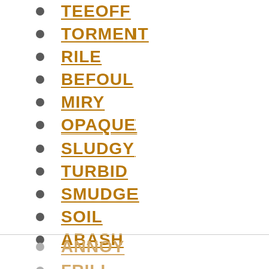TEEOFF
TORMENT
RILE
BEFOUL
MIRY
OPAQUE
SLUDGY
TURBID
SMUDGE
SOIL
ABASH
ANNOY
FRILL